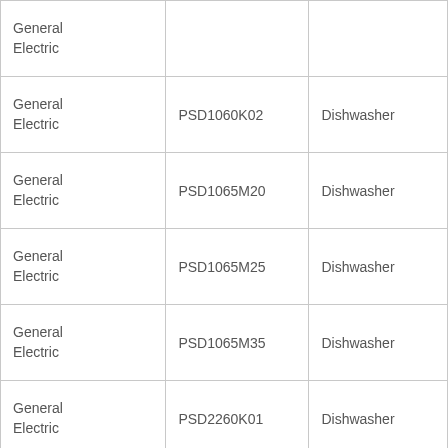| General Electric |  |  |
| General Electric | PSD1060K02 | Dishwasher |
| General Electric | PSD1065M20 | Dishwasher |
| General Electric | PSD1065M25 | Dishwasher |
| General Electric | PSD1065M35 | Dishwasher |
| General Electric | PSD2260K01 | Dishwasher |
|  |  |  |